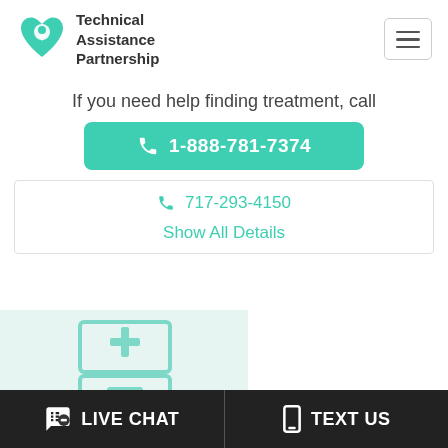[Figure (logo): Technical Assistance Partnership logo — teal heart with location pin overlay]
Technical Assistance Partnership
If you need help finding treatment, call
1-888-781-7374
717-293-4150
Show All Details
[Figure (illustration): Teal/mint illustration of a medical/pharmacy cabinet with a cross symbol on a light teal background]
LIVE CHAT
TEXT US